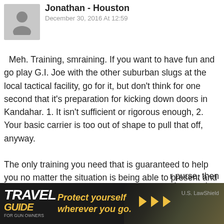Jonathan - Houston
December 30, 2016 At 12:59
Meh. Training, smraining. If you want to have fun and go play G.I. Joe with the other suburban slugs at the local tactical facility, go for it, but don't think for one second that it's preparation for kicking down doors in Kandahar. 1. It isn't sufficient or rigorous enough, 2. Your basic carrier is too out of shape to pull that off, anyway.

The only training you need that is guaranteed to help you no matter the situation is being able to present and operate that self-defense firearm. Watch surveillance footage of emergencies on youtube. You see people in a panic as killers approach, earthquakes are triggered, etc. who then gingerly set [their gun in their] purse, then [watch it] slam against
[Figure (screenshot): Advertisement banner: TRAVEL GUIDE FOR GUN OWNERS — Protect yourself wherever you go. U.S. LawShield]